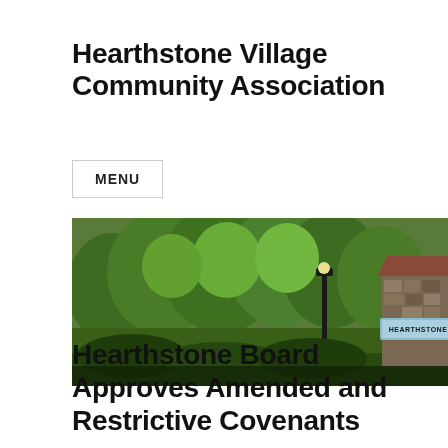Hearthstone Village Community Association
MENU
[Figure (photo): Outdoor photo of Hearthstone Village community entrance with green trees and a stone building showing a sign reading HEARTHSTONE, with a lamp post visible.]
Hearthstone Board Approves Amended and Restrictive Covenants